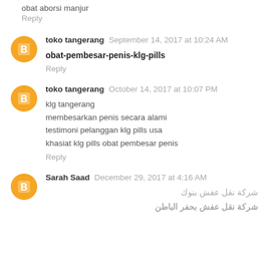obat aborsi manjur
Reply
toko tangerang September 14, 2017 at 10:24 AM
obat-pembesar-penis-klg-pills
Reply
toko tangerang October 14, 2017 at 10:07 PM
klg tangerang
membesarkan penis secara alami
testimoni pelanggan klg pills usa
khasiat klg pills obat pembesar penis
Reply
Sarah Saad December 29, 2017 at 4:16 AM
شركة نقل عفش بنوك
شركة نقل عفش بحفر الباطن